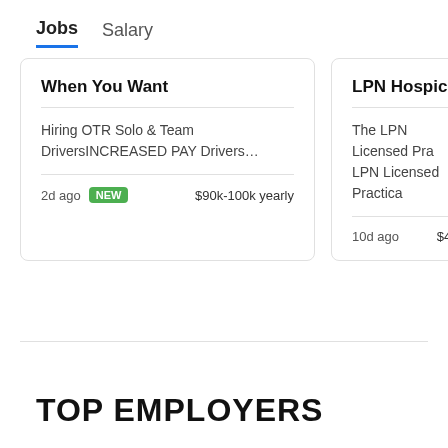Jobs  Salary
When You Want
Hiring OTR Solo & Team DriversINCREASED PAY Drivers...
2d ago  NEW  $90k-100k yearly
LPN Hospice
The LPN Licensed Pra... LPN Licensed Practica...
10d ago  $45k
TOP EMPLOYERS